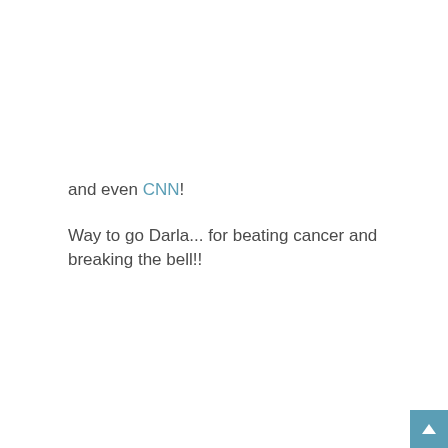and even CNN!
Way to go Darla... for beating cancer and breaking the bell!!